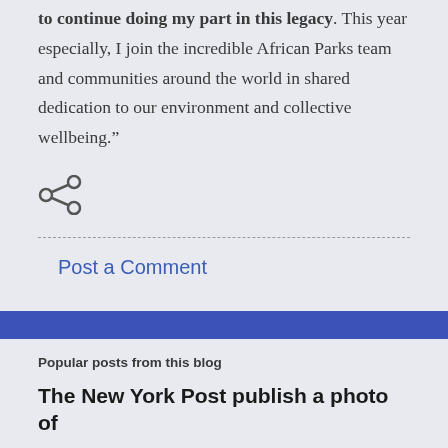to continue doing my part in this legacy. This year especially, I join the incredible African Parks team and communities around the world in shared dedication to our environment and collective wellbeing."
[Figure (other): Share icon (less-than style arrow icon for sharing)]
Post a Comment
Popular posts from this blog
The New York Post publish a photo of